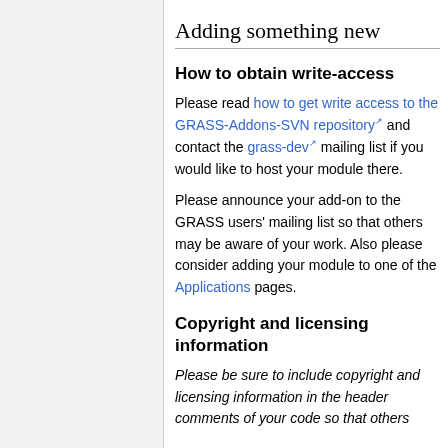Adding something new
How to obtain write-access
Please read how to get write access to the GRASS-Addons-SVN repository and contact the grass-dev mailing list if you would like to host your module there.
Please announce your add-on to the GRASS users' mailing list so that others may be aware of your work. Also please consider adding your module to one of the Applications pages.
Copyright and licensing information
Please be sure to include copyright and licensing information in the header comments of your code so that others